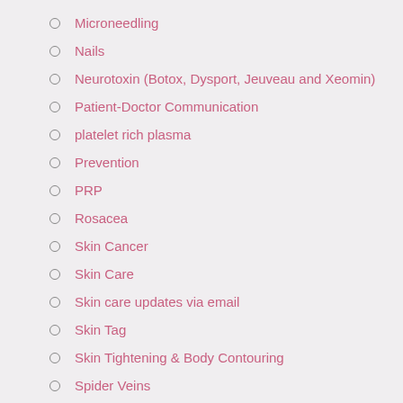Microneedling
Nails
Neurotoxin (Botox, Dysport, Jeuveau and Xeomin)
Patient-Doctor Communication
platelet rich plasma
Prevention
PRP
Rosacea
Skin Cancer
Skin Care
Skin care updates via email
Skin Tag
Skin Tightening & Body Contouring
Spider Veins